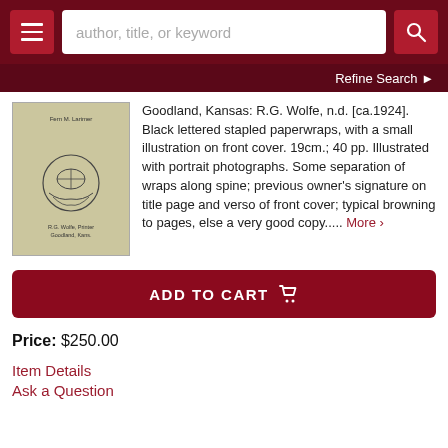author, title, or keyword
Refine Search
[Figure (photo): Book cover with olive/tan paper wrap showing a decorative emblem/seal in the center and small text at top and bottom]
Goodland, Kansas: R.G. Wolfe, n.d. [ca.1924]. Black lettered stapled paperwraps, with a small illustration on front cover. 19cm.; 40 pp. Illustrated with portrait photographs. Some separation of wraps along spine; previous owner's signature on title page and verso of front cover; typical browning to pages, else a very good copy..... More >
ADD TO CART
Price: $250.00
Item Details
Ask a Question